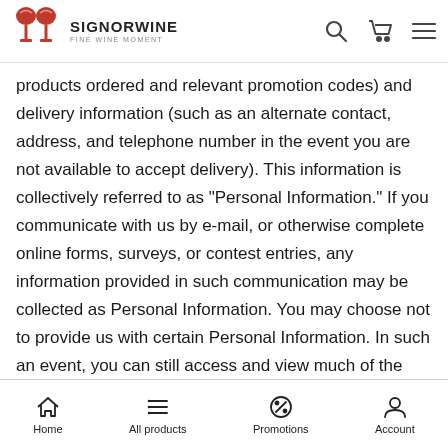SignorWine - Fine Wine Moment - Navigation header with logo, search, cart, and menu icons
products ordered and relevant promotion codes) and delivery information (such as an alternate contact, address, and telephone number in the event you are not available to accept delivery). This information is collectively referred to as "Personal Information." If you communicate with us by e-mail, or otherwise complete online forms, surveys, or contest entries, any information provided in such communication may be collected as Personal Information. You may choose not to provide us with certain Personal Information. In such an event, you can still access and view much of the Site; however, you may not be able to order any products. In addition, you can choose not to provide certain optional information, but then you might not be able to take full advantage of many of the features on the Company's Site.
Home | All products | Promotions | Account